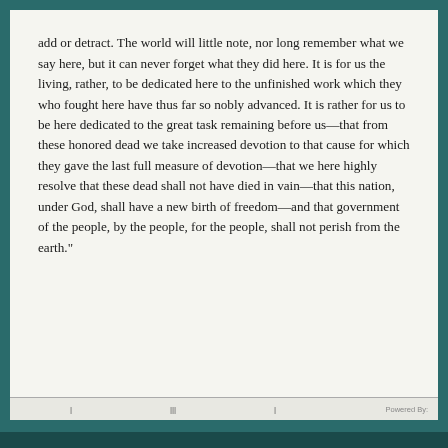add or detract. The world will little note, nor long remember what we say here, but it can never forget what they did here. It is for us the living, rather, to be dedicated here to the unfinished work which they who fought here have thus far so nobly advanced. It is rather for us to be here dedicated to the great task remaining before us—that from these honored dead we take increased devotion to that cause for which they gave the last full measure of devotion—that we here highly resolve that these dead shall not have died in vain—that this nation, under God, shall have a new birth of freedom—and that government of the people, by the people, for the people, shall not perish from the earth."
Powered By: